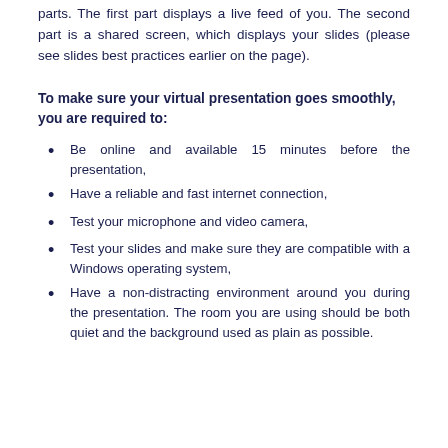parts. The first part displays a live feed of you. The second part is a shared screen, which displays your slides (please see slides best practices earlier on the page).
To make sure your virtual presentation goes smoothly, you are required to:
Be online and available 15 minutes before the presentation,
Have a reliable and fast internet connection,
Test your microphone and video camera,
Test your slides and make sure they are compatible with a Windows operating system,
Have a non-distracting environment around you during the presentation. The room you are using should be both quiet and the background used as plain as possible.